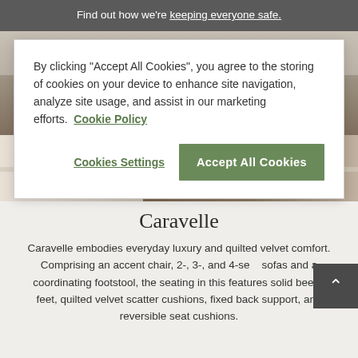Find out how we're keeping everyone safe.
By clicking "Accept All Cookies", you agree to the storing of cookies on your device to enhance site navigation, analyze site usage, and assist in our marketing efforts.  Cookie Policy
Cookies Settings
Accept All Cookies
[Figure (photo): Interior room photo showing wooden flooring, a white column, and green plants in a home setting]
Caravelle
Caravelle embodies everyday luxury and quilted velvet comfort. Comprising an accent chair, 2-, 3-, and 4-seat sofas and a coordinating footstool, the seating in this features solid beech feet, quilted velvet scatter cushions, fixed back support, and reversible seat cushions.